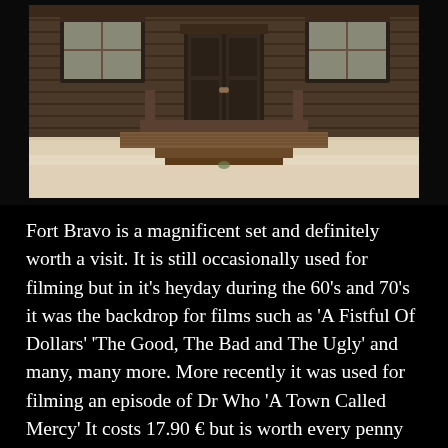[Figure (photo): Photograph of Fort Bravo, a wooden western-style building facade with double doors, two windows, and a wooden porch/steps, set against sandy ground. The building is constructed of weathered dark wood planks. Taken from outside showing the front of the building.]
Fort Bravo is a magnificent set and definitely worth a visit. It is still occasionally used for filming but in it's heyday during the 60's and 70's it was the backdrop for films such as 'A Fistful Of Dollars' 'The Good, The Bad and The Ugly' and many, many more. More recently it was used for filming an episode of Dr Who 'A Town Called Mercy' It costs 17.90 € but is worth every penny and is open from 9am-